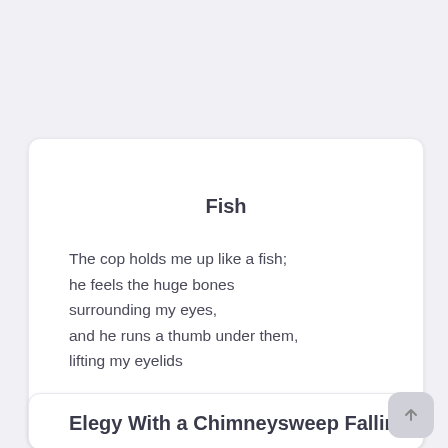Fish
The cop holds me up like a fish;
he feels the huge bones
surrounding my eyes,
and he runs a thumb under them,
lifting my eyelids
Elegy With a Chimneysweep Falling